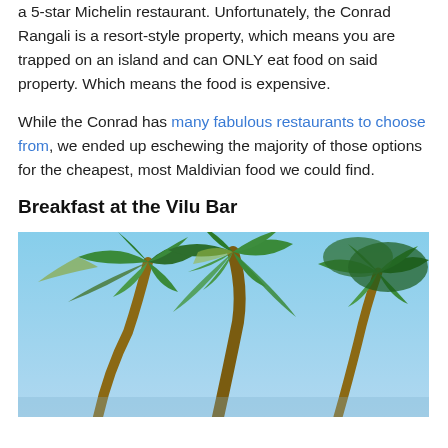a 5-star Michelin restaurant. Unfortunately, the Conrad Rangali is a resort-style property, which means you are trapped on an island and can ONLY eat food on said property. Which means the food is expensive.
While the Conrad has many fabulous restaurants to choose from, we ended up eschewing the majority of those options for the cheapest, most Maldivian food we could find.
Breakfast at the Vilu Bar
[Figure (photo): Photo of tropical palm trees with green fronds against a blue sky, taken from below looking up.]